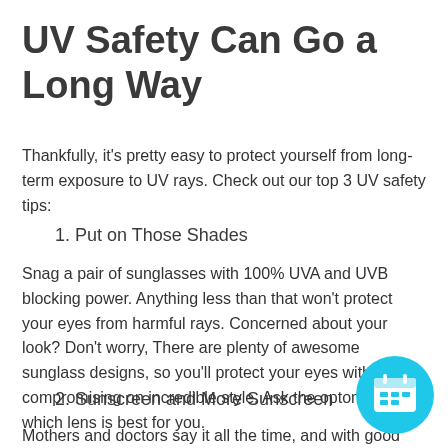UV Safety Can Go a Long Way
Thankfully, it's pretty easy to protect yourself from long-term exposure to UV rays. Check out our top 3 UV safety tips:
1. Put on Those Shades
Snag a pair of sunglasses with 100% UVA and UVB blocking power. Anything less than that won't protect your eyes from harmful rays. Concerned about your look? Don't worry, There are plenty of awesome sunglass designs, so you'll protect your eyes without compromising on incredible style. Ask the optometrist which lens is best for you.
2. Sunscreen and More Sunscreen
Mothers and doctors say it all the time, and with good reason! Use sunscreen before going outdoors and make sure
[Figure (illustration): Cyan circular button with a calendar/appointment icon in white]